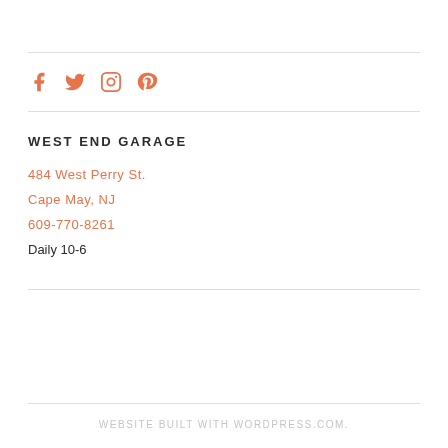[Figure (infographic): Social media icons: Facebook, Twitter, Instagram, Pinterest in coral/orange color]
WEST END GARAGE
484 West Perry St.
Cape May, NJ
609-770-8261
Daily 10-6
WEBSITE BUILT WITH WORDPRESS.COM.